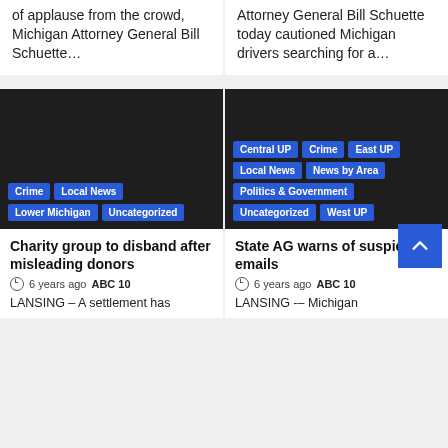of applause from the crowd, Michigan Attorney General Bill Schuette…
Attorney General Bill Schuette today cautioned Michigan drivers searching for a…
[Figure (photo): Dark/black image with category tags: Crime, Local News, Lower Michigan, Uncategorized]
Charity group to disband after misleading donors
6 years ago  ABC 10
LANSING – A settlement has
[Figure (photo): Dark/black image with category tags: Central UP, Crime, East UP, Local News, News by Area, Politics & Government, Uncategorized, West UP]
State AG warns of suspicious emails
6 years ago  ABC 10
LANSING -– Michigan